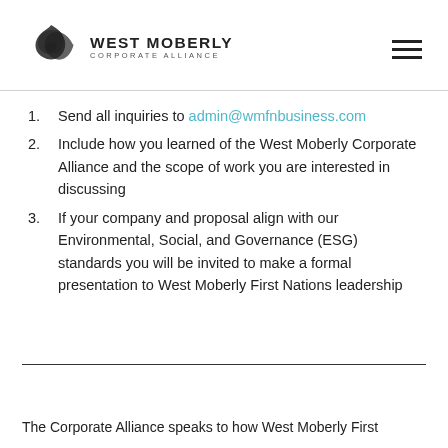WEST MOBERLY CORPORATE ALLIANCE
Send all inquiries to admin@wmfnbusiness.com
Include how you learned of the West Moberly Corporate Alliance and the scope of work you are interested in discussing
If your company and proposal align with our Environmental, Social, and Governance (ESG) standards you will be invited to make a formal presentation to West Moberly First Nations leadership
The Corporate Alliance speaks to how West Moberly First